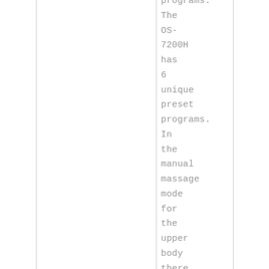programs. The OS-7200H has 6 unique preset programs. In the manual massage mode for the upper body there are three